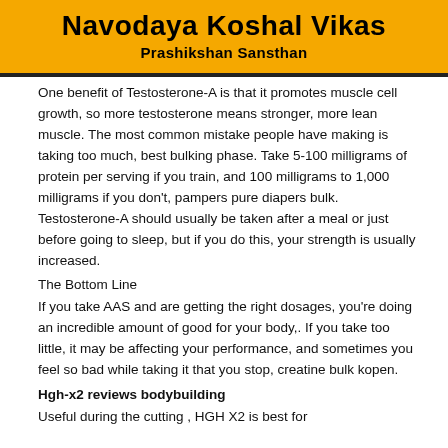Navodaya Koshal Vikas
Prashikshan Sansthan
One benefit of Testosterone-A is that it promotes muscle cell growth, so more testosterone means stronger, more lean muscle. The most common mistake people have making is taking too much, best bulking phase. Take 5-100 milligrams of protein per serving if you train, and 100 milligrams to 1,000 milligrams if you don't, pampers pure diapers bulk. Testosterone-A should usually be taken after a meal or just before going to sleep, but if you do this, your strength is usually increased.
The Bottom Line
If you take AAS and are getting the right dosages, you're doing an incredible amount of good for your body,. If you take too little, it may be affecting your performance, and sometimes you feel so bad while taking it that you stop, creatine bulk kopen.
Hgh-x2 reviews bodybuilding
Useful during the cutting , HGH X2 is best for